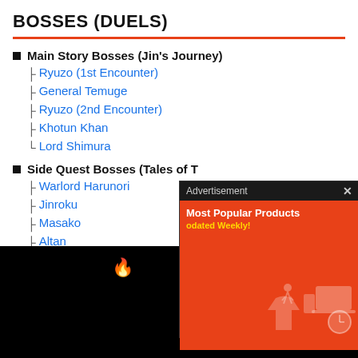BOSSES (DUELS)
Main Story Bosses (Jin's Journey)
Ryuzo (1st Encounter)
General Temuge
Ryuzo (2nd Encounter)
Khotun Khan
Lord Shimura
Side Quest Bosses (Tales of T...
Warlord Harunori
Jinroku
Masako
Altan
[Figure (screenshot): Advertisement overlay showing 'Most Popular Products - Updated Weekly!' on an orange background with product illustrations]
[Figure (screenshot): Dark bottom navigation bar with flame icon, bracket symbol, and a close button]